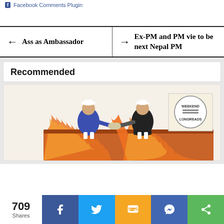Facebook Comments Plugin
← Ass as Ambassador
→ Ex-PM and PM vie to be next Nepal PM
Recommended
[Figure (illustration): Cartoon illustration of two political figures shaking hands across a chasm/cliff with fire below, with a 'Weekend Longreads' badge in the top right corner]
709 Shares